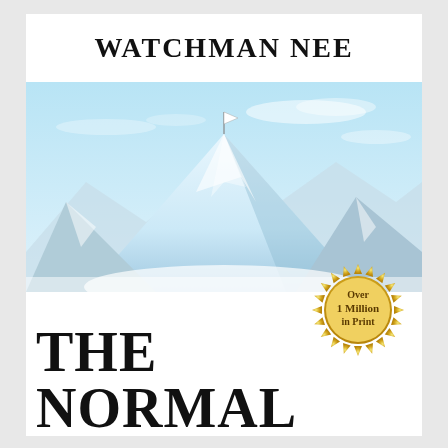WATCHMAN NEE
[Figure (illustration): Snowy mountain peak with a white flag at the summit against a light blue sky with clouds and surrounding snow-covered mountain ranges]
[Figure (other): Gold starburst badge reading 'Over 1 Million in Print']
THE NORMAL Life Christian